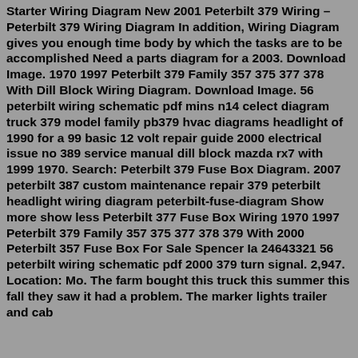Starter Wiring Diagram New 2001 Peterbilt 379 Wiring – Peterbilt 379 Wiring Diagram In addition, Wiring Diagram gives you enough time body by which the tasks are to be accomplished Need a parts diagram for a 2003. Download Image. 1970 1997 Peterbilt 379 Family 357 375 377 378 With Dill Block Wiring Diagram. Download Image. 56 peterbilt wiring schematic pdf mins n14 celect diagram truck 379 model family pb379 hvac diagrams headlight of 1990 for a 99 basic 12 volt repair guide 2000 electrical issue no 389 service manual dill block mazda rx7 with 1999 1970. Search: Peterbilt 379 Fuse Box Diagram. 2007 peterbilt 387 custom maintenance repair 379 peterbilt headlight wiring diagram peterbilt-fuse-diagram Show more show less Peterbilt 377 Fuse Box Wiring 1970 1997 Peterbilt 379 Family 357 375 377 378 379 With 2000 Peterbilt 357 Fuse Box For Sale Spencer Ia 24643321 56 peterbilt wiring schematic pdf 2000 379 turn signal. 2,947. Location: Mo. The farm bought this truck this summer this fall they saw it had a problem. The marker lights trailer and cab